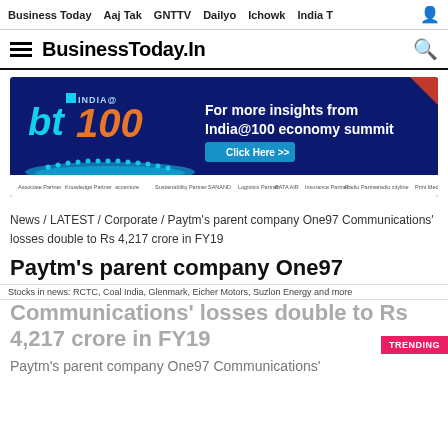Business Today  Aaj Tak  GNTTV  Dailyo  Ichowk  India T
BusinessToday.In
[Figure (infographic): BT India@100 economy summit advertisement banner with blue background, bt logo in cyan, India@100 branding in orange, text 'For more insights from India@100 economy summit', Click Here button, and partner logos at the bottom]
News / LATEST / Corporate / Paytm's parent company One97 Communications' losses double to Rs 4,217 crore in FY19
Paytm's parent company One97 Communications' losses double to Rs 4,217 crore in FY19
Paytm's parent company One97 Communications'